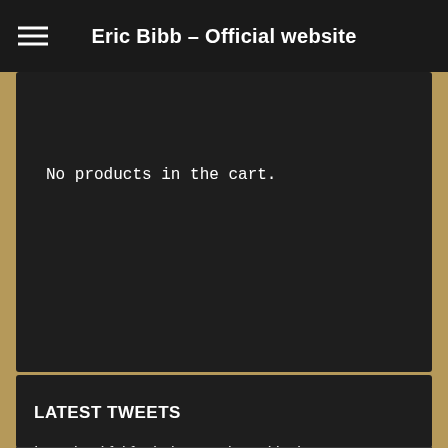Eric Bibb – Official website
No products in the cart.
LATEST TWEETS
I am thankful for being nominated in the @BluesFoundation 43rd Blues Music Awards. For more information, visit… https://t.co/MRcCfaFYmi
6 months ago